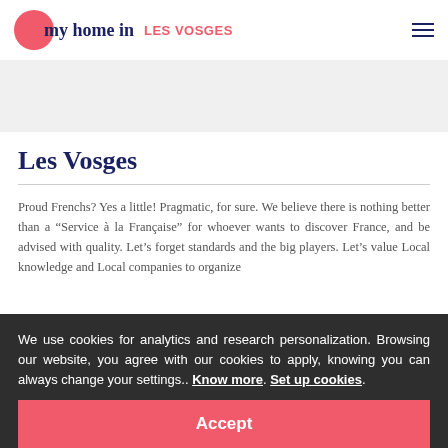my home in LES VOSGES
Les Vosges
Proud Frenchs? Yes a little! Pragmatic, for sure. We believe there is nothing better than a "Service à la Française" for whoever wants to discover France, and be advised with quality. Let's forget standards and the big players. Let's value Local knowledge and Local companies to organize
We use cookies for analytics and research personalization. Browsing our website, you agree with our cookies to apply, knowing you can always change your settings.. Know more. Set up cookies.
Accept